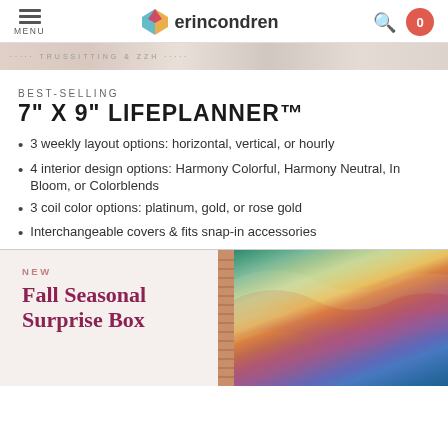MENU | erin condren | search | cart 0
[Figure (screenshot): Banner strip showing a partial view of planner pages]
BEST-SELLING
7" X 9" LIFEPLANNER™
3 weekly layout options: horizontal, vertical, or hourly
4 interior design options: Harmony Colorful, Harmony Neutral, In Bloom, or Colorblends
3 coil color options: platinum, gold, or rose gold
Interchangeable covers & fits snap-in accessories
[Figure (screenshot): Fall Seasonal Surprise Box promotional card with 'NEW' label in pink/mauve and 'Fall Seasonal Surprise Box' in dark magenta serif text]
[Figure (photo): Spiral-bound planner with colorful marbled/wavy cover in teal, green, pink, orange, and purple tones]